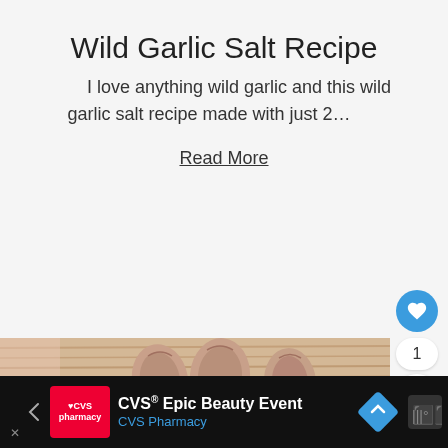Wild Garlic Salt Recipe
I love anything wild garlic and this wild garlic salt recipe made with just 2…
Read More
[Figure (photo): Close-up photo of garlic cloves on a wooden cutting board]
CVS® Epic Beauty Event CVS Pharmacy